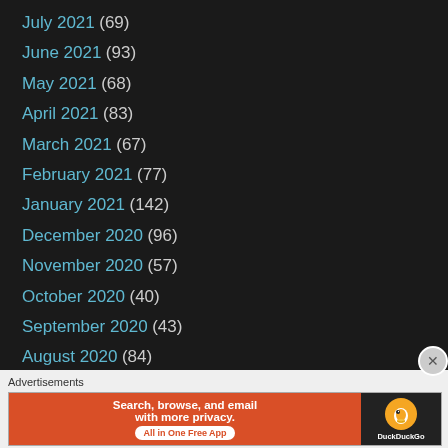July 2021 (69)
June 2021 (93)
May 2021 (68)
April 2021 (83)
March 2021 (67)
February 2021 (77)
January 2021 (142)
December 2020 (96)
November 2020 (57)
October 2020 (40)
September 2020 (43)
August 2020 (84)
July 2020 (37)
June 2020 (38)
May 2020 (38)
Advertisements
[Figure (infographic): DuckDuckGo advertisement banner: orange background with text 'Search, browse, and email with more privacy. All in One Free App', dark right section with DuckDuckGo logo and duck icon.]